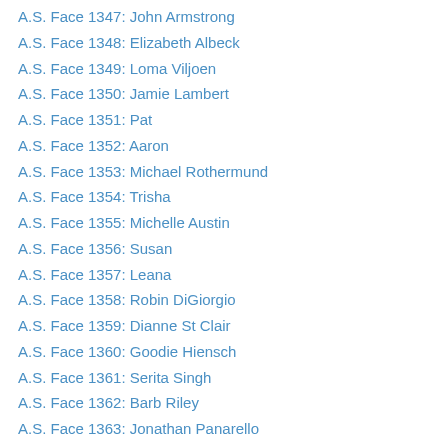A.S. Face 1347: John Armstrong
A.S. Face 1348: Elizabeth Albeck
A.S. Face 1349: Loma Viljoen
A.S. Face 1350: Jamie Lambert
A.S. Face 1351: Pat
A.S. Face 1352: Aaron
A.S. Face 1353: Michael Rothermund
A.S. Face 1354: Trisha
A.S. Face 1355: Michelle Austin
A.S. Face 1356: Susan
A.S. Face 1357: Leana
A.S. Face 1358: Robin DiGiorgio
A.S. Face 1359: Dianne St Clair
A.S. Face 1360: Goodie Hiensch
A.S. Face 1361: Serita Singh
A.S. Face 1362: Barb Riley
A.S. Face 1363: Jonathan Panarello
A.S. Face 1364: Mary Higginbotham
A.S. Face 1365: James Hill
A.S. Face 1366: Thad